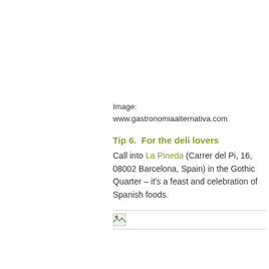Image: www.gastronomiaalternativa.com
Tip 6.  For the deli lovers
Call into La Pineda (Carrer del Pi, 16, 08002 Barcelona, Spain) in the Gothic Quarter – it's a feast and celebration of Spanish foods.
[Figure (photo): Broken/placeholder image with small icon, bordered top and bottom with thin gray lines]